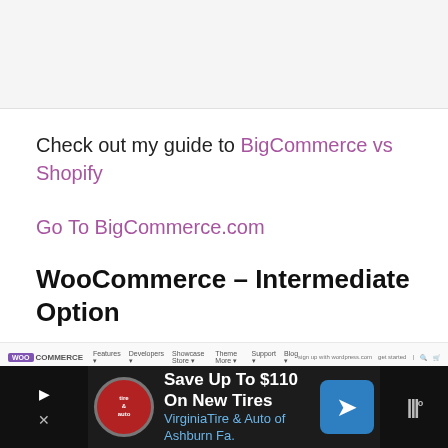[Figure (screenshot): Top image/screenshot placeholder area with light gray background]
Check out my guide to BigCommerce vs Shopify
Go To BigCommerce.com
WooCommerce – Intermediate Option
[Figure (screenshot): WooCommerce website navigation bar screenshot showing logo and nav items]
[Figure (screenshot): Advertisement bar: Save Up To $110 On New Tires - Virginia Tire & Auto of Ashburn Fa.]